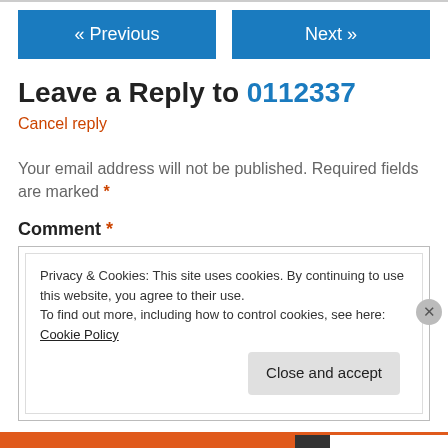[Figure (other): Navigation buttons: « Previous and Next »]
Leave a Reply to 0112337
Cancel reply
Your email address will not be published. Required fields are marked *
Comment *
Privacy & Cookies: This site uses cookies. By continuing to use this website, you agree to their use. To find out more, including how to control cookies, see here: Cookie Policy
Close and accept